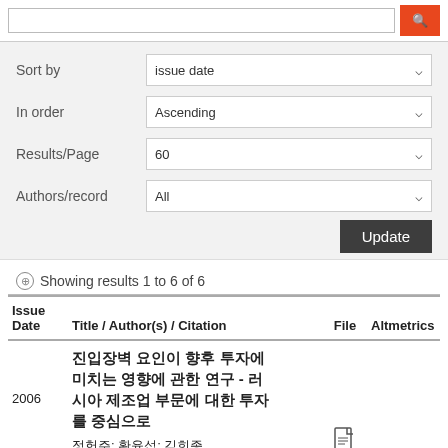Sort by: issue date
In order: Ascending
Results/Page: 60
Authors/record: All
Update
Showing results 1 to 6 of 6
| Issue Date | Title / Author(s) / Citation | File | Altmetrics |
| --- | --- | --- | --- |
| 2006 | 진입장벽 요인이 향후 투자에 미치는 영향에 관한 연구 - 러시아 제조업 부문에 대한 투자를 중심으로
정헌주; 황윤섭; 김희종
러시아연구 Vol. 16 No. 1, pp. | view file |  |